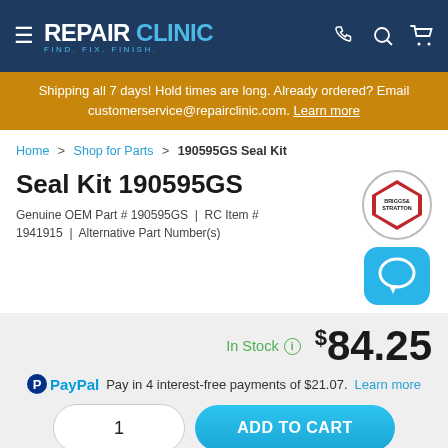REPAIR CLINIC — FIND. FIX. FINISH.
Shipping all 7 days! Hold times are long. Already ordered? Email customerservice@repairclinic.com. Learn more
Home > Shop for Parts > 190595GS Seal Kit
Seal Kit 190595GS
Genuine OEM Part # 190595GS | RC Item # 1941915 | Alternative Part Number(s)
In Stock  $84.25
PayPal Pay in 4 interest-free payments of $21.07. Learn more
1  ADD TO CART
Order today, this part ships tomorrow!